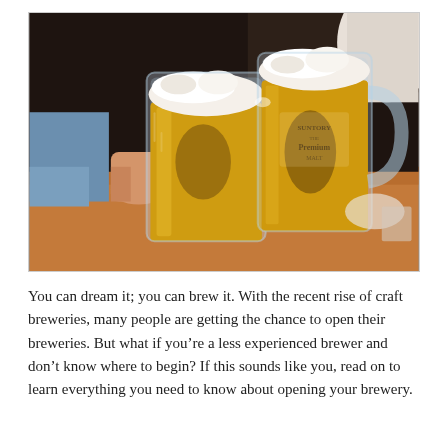[Figure (photo): Two people clinking large glass beer mugs filled with golden lager beer, with foam on top. The scene is set on a wooden table in what appears to be a restaurant or bar setting. One person has blue nail polish.]
You can dream it; you can brew it. With the recent rise of craft breweries, many people are getting the chance to open their breweries. But what if you're a less experienced brewer and don't know where to begin? If this sounds like you, read on to learn everything you need to know about opening your brewery.